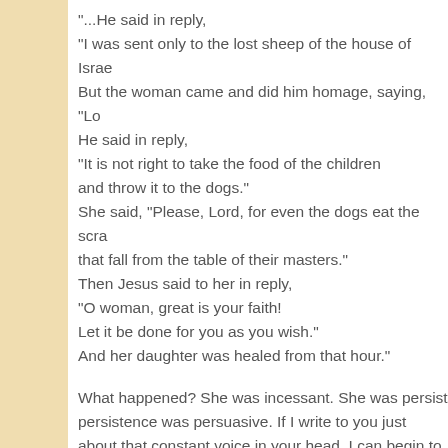"...He said in reply,
"I was sent only to the lost sheep of the house of Israe
But the woman came and did him homage, saying, "Lo
He said in reply,
"It is not right to take the food of the children
and throw it to the dogs."
She said, "Please, Lord, for even the dogs eat the scra
that fall from the table of their masters."
Then Jesus said to her in reply,
"O woman, great is your faith!
Let it be done for you as you wish."
And her daughter was healed from that hour."
What happened? She was incessant. She was persist persistence was persuasive. If I write to you just about that constant voice in your head, I can begin to wear o something gives. That is how we are to be with His Wo Spirit. We should allow Him to persist on us, just like w you are hearing this message now, it is because He is